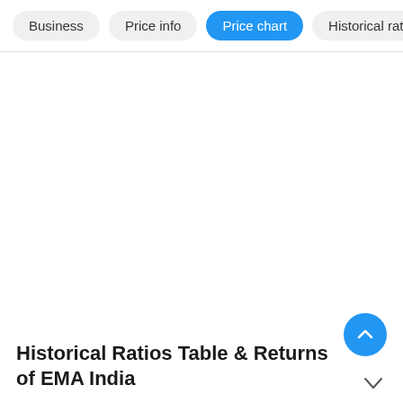Business | Price info | Price chart | Historical ratio | Marg
Historical Ratios Table & Returns of EMA India